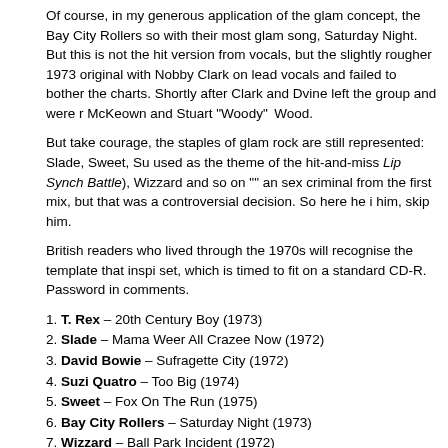Of course, in my generous application of the glam concept, the Bay City Rollers so with their most glam song, Saturday Night. But this is not the hit version from vocals, but the slightly rougher 1973 original with Nobby Clark on lead vocals and failed to bother the charts. Shortly after Clark and Dvine left the group and were r McKeown and Stuart "Woody" Wood.
But take courage, the staples of glam rock are still represented: Slade, Sweet, Su used as the theme of the hit-and-miss Lip Synch Battle), Wizzard and so on "" an sex criminal from the first mix, but that was a controversial decision. So here he i him, skip him.
British readers who lived through the 1970s will recognise the template that inspi set, which is timed to fit on a standard CD-R. Password in comments.
1. T. Rex – 20th Century Boy (1973)
2. Slade – Mama Weer All Crazee Now (1972)
3. David Bowie – Sufragette City (1972)
4. Suzi Quatro – Too Big (1974)
5. Sweet – Fox On The Run (1975)
6. Bay City Rollers – Saturday Night (1973)
7. Wizzard – Ball Park Incident (1972)
8. Gary Glitter – I Love You Love Me Love (1973)
9. Abba – So Long (1974)
10. Rubettes – Juke Box Jive (1974)
11. Hello – New York Groove (1975)
12. Kenny – The Bump (1974)
13. The Glitter Band – The Tears I Cried (1975)
14. Alvin Stardust – Red Dress (1974)